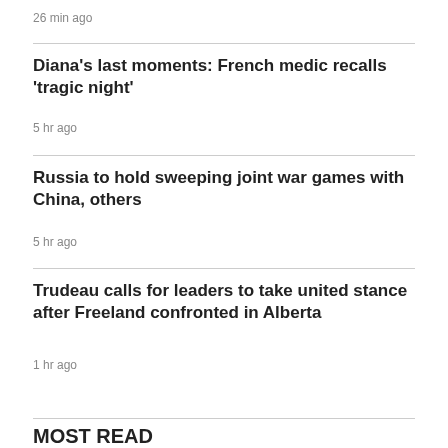26 min ago
Diana's last moments: French medic recalls 'tragic night'
5 hr ago
Russia to hold sweeping joint war games with China, others
5 hr ago
Trudeau calls for leaders to take united stance after Freeland confronted in Alberta
1 hr ago
MOST READ